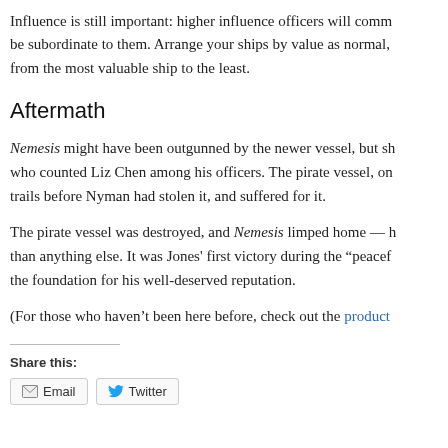Influence is still important: higher influence officers will comm be subordinate to them. Arrange your ships by value as normal, from the most valuable ship to the least.
Aftermath
Nemesis might have been outgunned by the newer vessel, but sh who counted Liz Chen among his officers. The pirate vessel, on trails before Nyman had stolen it, and suffered for it.
The pirate vessel was destroyed, and Nemesis limped home — h than anything else. It was Jones' first victory during the “peacef the foundation for his well-deserved reputation.
(For those who haven’t been here before, check out the product
Share this:
Email   Twitter